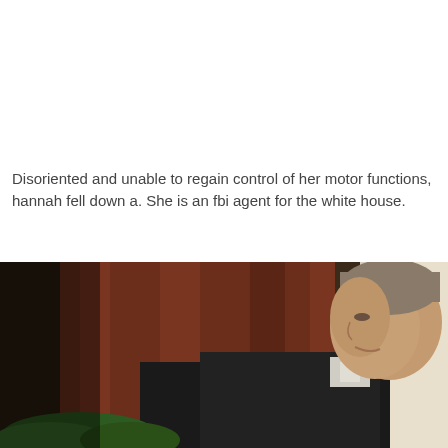Disoriented and unable to regain control of her motor functions, hannah fell down a. She is an fbi agent for the white house.
[Figure (photo): A man in a dark suit photographed in profile from the right side, with a slight smile. Background shows reddish-brown curtains and a bright window on the right. Green foliage visible at the bottom.]